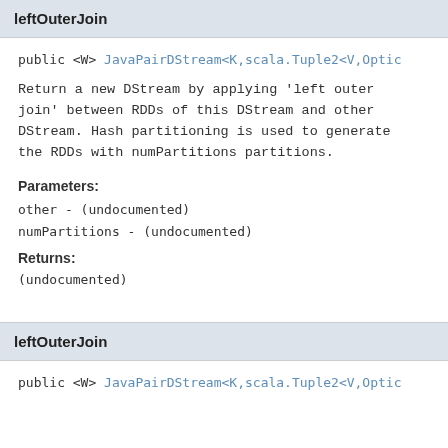leftOuterJoin
public <W> JavaPairDStream<K,scala.Tuple2<V,Optic
Return a new DStream by applying 'left outer join' between RDDs of this DStream and other DStream. Hash partitioning is used to generate the RDDs with numPartitions partitions.
Parameters:
other - (undocumented)
numPartitions - (undocumented)
Returns:
(undocumented)
leftOuterJoin
public <W> JavaPairDStream<K,scala.Tuple2<V,Optic